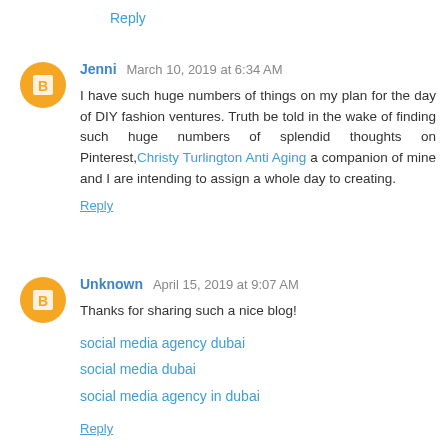Reply
Jenni March 10, 2019 at 6:34 AM
I have such huge numbers of things on my plan for the day of DIY fashion ventures. Truth be told in the wake of finding such huge numbers of splendid thoughts on Pinterest, Christy Turlington Anti Aging a companion of mine and I are intending to assign a whole day to creating.
Reply
Unknown April 15, 2019 at 9:07 AM
Thanks for sharing such a nice blog!

social media agency dubai
social media dubai
social media agency in dubai
Reply